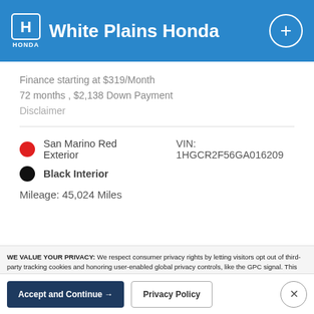White Plains Honda
Finance starting at $319/Month
72 months , $2,138 Down Payment
Disclaimer
San Marino Red Exterior   VIN: 1HGCR2F56GA016209
Black Interior
Mileage: 45,024 Miles
WE VALUE YOUR PRIVACY: We respect consumer privacy rights by letting visitors opt out of third-party tracking cookies and honoring user-enabled global privacy controls, like the GPC signal. This site deploys cookies and similar tracking technologies to build profiles, serve ads, and personalize your experience across websites. By pressing accept, you consent to the use of such cookies. To manage your privacy rights or view the categories of personal information we collect and the purposes for which the information is used, click here.
Language: English   Powered by ComplyAuto
Accept and Continue →
Privacy Policy